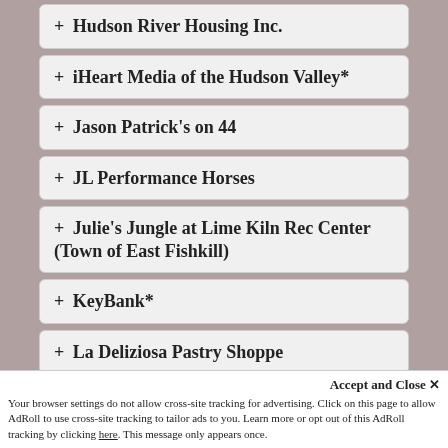+ Hudson River Housing Inc.
+ iHeart Media of the Hudson Valley*
+ Jason Patrick's on 44
+ JL Performance Horses
+ Julie's Jungle at Lime Kiln Rec Center (Town of East Fishkill)
+ KeyBank*
+ La Deliziosa Pastry Shoppe
Accept and Close ✕ Your browser settings do not allow cross-site tracking for advertising. Click on this page to allow AdRoll to use cross-site tracking to tailor ads to you. Learn more or opt out of this AdRoll tracking by clicking here. This message only appears once.